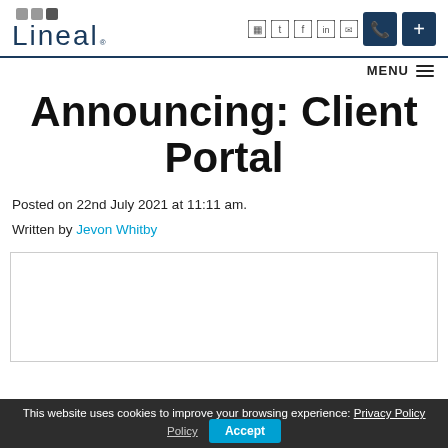Lineal – website header with logo and navigation icons
MENU
Announcing: Client Portal
Posted on 22nd July 2021 at 11:11 am.
Written by Jevon Whitby
[Figure (other): White content image placeholder box with border]
This website uses cookies to improve your browsing experience: Privacy Policy  Accept